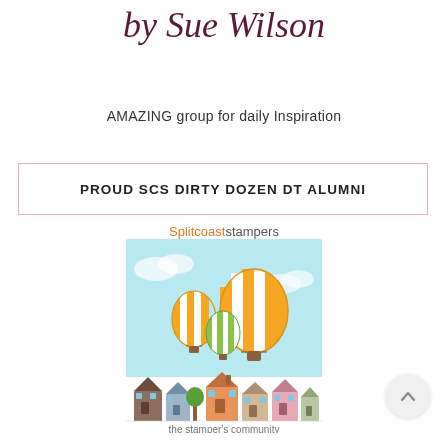by Sue Wilson
AMAZING group for daily Inspiration
PROUD SCS DIRTY DOZEN DT ALUMNI
[Figure (logo): Splitcoaststampers logo with hot air balloons and colorful houses, text reads 'Splitcoaststampers the stamper's community']